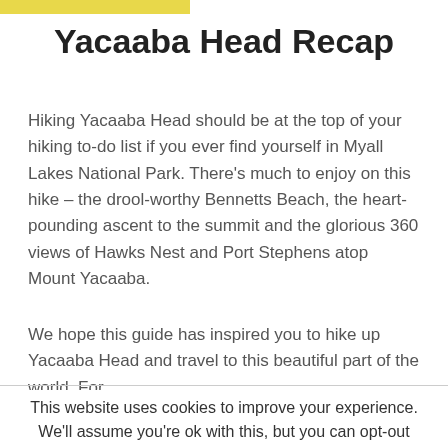Yacaaba Head Recap
Hiking Yacaaba Head should be at the top of your hiking to-do list if you ever find yourself in Myall Lakes National Park. There's much to enjoy on this hike – the drool-worthy Bennetts Beach, the heart-pounding ascent to the summit and the glorious 360 views of Hawks Nest and Port Stephens atop Mount Yacaaba.
We hope this guide has inspired you to hike up Yacaaba Head and travel to this beautiful part of the world. For
This website uses cookies to improve your experience. We'll assume you're ok with this, but you can opt-out if you wish. Cookie settings ACCEPT